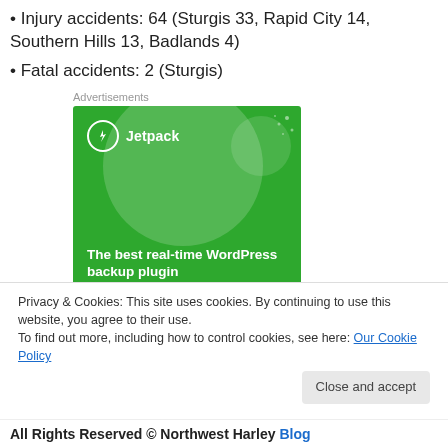Injury accidents: 64 (Sturgis 33, Rapid City 14, Southern Hills 13, Badlands 4)
Fatal accidents: 2 (Sturgis)
[Figure (illustration): Jetpack advertisement banner. Green background with large semi-transparent circle and small circles. Jetpack logo (lightning bolt in circle) top left with 'Jetpack' text. Bold white text reads: 'The best real-time WordPress backup plugin']
Privacy & Cookies: This site uses cookies. By continuing to use this website, you agree to their use. To find out more, including how to control cookies, see here: Our Cookie Policy
All Rights Reserved © Northwest Harley Blog